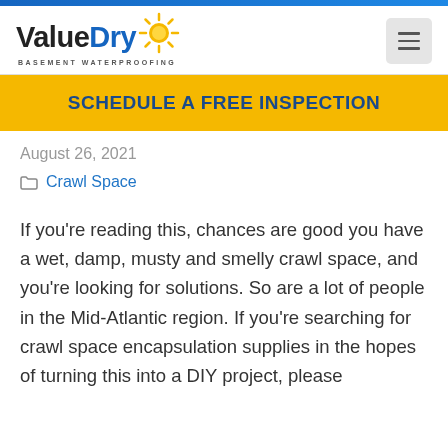[Figure (logo): ValueDry Basement Waterproofing logo with sun graphic]
SCHEDULE A FREE INSPECTION
August 26, 2021
Crawl Space
If you’re reading this, chances are good you have a wet, damp, musty and smelly crawl space, and you’re looking for solutions. So are a lot of people in the Mid-Atlantic region. If you’re searching for crawl space encapsulation supplies in the hopes of turning this into a DIY project, please